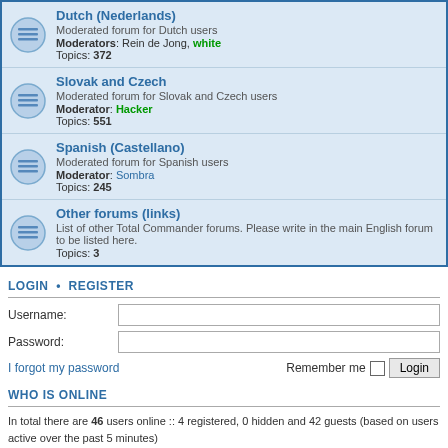Dutch (Nederlands) — Moderated forum for Dutch users. Moderators: Rein de Jong, white. Topics: 372
Slovak and Czech — Moderated forum for Slovak and Czech users. Moderator: Hacker. Topics: 551
Spanish (Castellano) — Moderated forum for Spanish users. Moderator: Sombra. Topics: 245
Other forums (links) — List of other Total Commander forums. Please write in the main English forum to be listed here. Topics: 3
LOGIN • REGISTER
Username:
Password:
I forgot my password
Remember me  Login
WHO IS ONLINE
In total there are 46 users online :: 4 registered, 0 hidden and 42 guests (based on users active over the past 5 minutes)
Most users ever online was 1122 on 2011-07-03, 07:33 UTC